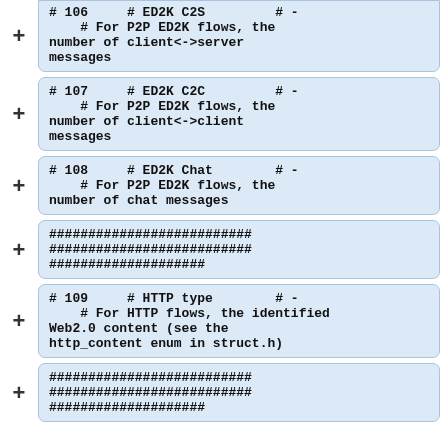# 106     # ED2K C2S         # -
    # For P2P ED2K flows, the number of client<->server messages
# 107     # ED2K C2C         # -
    # For P2P ED2K flows, the number of client<->client messages
# 108     # ED2K Chat        # -
    # For P2P ED2K flows, the number of chat messages
##########################
##########################
####################
# 109     # HTTP type        # -
    # For HTTP flows, the identified Web2.0 content (see the http_content enum in struct.h)
##########################
##########################
####################